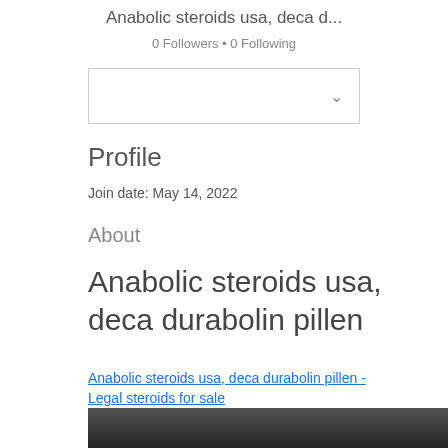Anabolic steroids usa, deca d...
0 Followers • 0 Following
[Figure (other): Dropdown selector box with chevron]
Profile
Join date: May 14, 2022
About
Anabolic steroids usa, deca durabolin pillen
Anabolic steroids usa, deca durabolin pillen - Legal steroids for sale
[Figure (photo): Dark image at bottom of page]